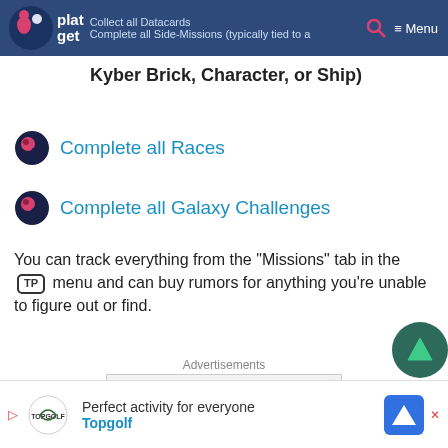platget — Collect all Datacards | Menu
Complete all Side-Missions (typically tied to a Kyber Brick, Character, or Ship)
Complete all Races
Complete all Galaxy Challenges
You can track everything from the "Missions" tab in the TP menu and can buy rumors for anything you're unable to figure out or find.
Advertisements
[Figure (screenshot): Advertisement banner: SORRY, WE MADE THE RESERVE SERIES SOUND SO AMAZING YOU'RE GOING TO HAVE TO BUY NEW SPEAKERS]
[Figure (screenshot): Bottom banner ad: Perfect activity for everyone — Topgolf]